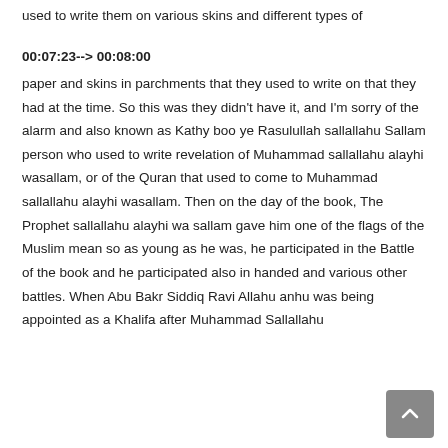used to write them on various skins and different types of
00:07:23--> 00:08:00
paper and skins in parchments that they used to write on that they had at the time. So this was they didn't have it, and I'm sorry of the alarm and also known as Kathy boo ye Rasulullah sallallahu Sallam person who used to write revelation of Muhammad sallallahu alayhi wasallam, or of the Quran that used to come to Muhammad sallallahu alayhi wasallam. Then on the day of the book, The Prophet sallallahu alayhi wa sallam gave him one of the flags of the Muslim mean so as young as he was, he participated in the Battle of the book and he participated also in handed and various other battles. When Abu Bakr Siddiq Ravi Allahu anhu was being appointed as a Khalifa after Muhammad Sallallahu